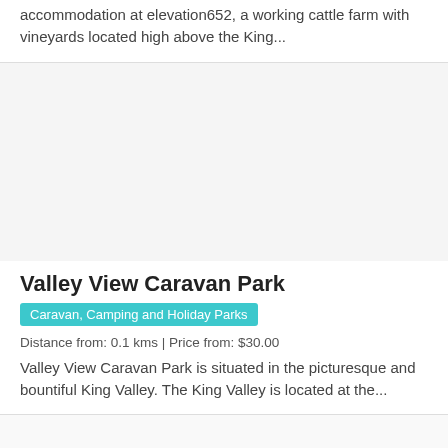accommodation at elevation652, a working cattle farm with vineyards located high above the King...
[Figure (photo): Image placeholder for Valley View Caravan Park listing]
Valley View Caravan Park
Caravan, Camping and Holiday Parks
Distance from: 0.1 kms | Price from: $30.00
Valley View Caravan Park is situated in the picturesque and bountiful King Valley. The King Valley is located at the...